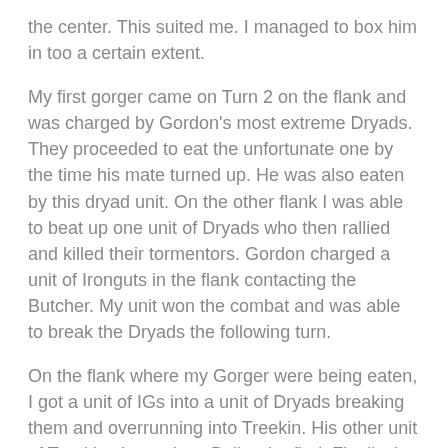the center. This suited me. I managed to box him in too a certain extent.
My first gorger came on Turn 2 on the flank and was charged by Gordon's most extreme Dryads. They proceeded to eat the unfortunate one by the time his mate turned up. He was also eaten by this dryad unit. On the other flank I was able to beat up one unit of Dryads who then rallied and killed their tormentors. Gordon charged a unit of Ironguts in the flank contacting the Butcher. My unit won the combat and was able to break the Dryads the following turn.
On the flank where my Gorger were being eaten, I got a unit of IGs into a unit of Dryads breaking them and overrunning into Treekin. His other unit of Treekin charged my Bulls who fled. Finally the big fight – Drycha and two units of Dryads into my Tyrants unit. I challenged and like the old woman she is Drycha declined letting one of her children step up. Unfortunately for Gordon the Tyrant made a mess of her and when Drycha was less than successful, the Ogres were able to break and run down both units.